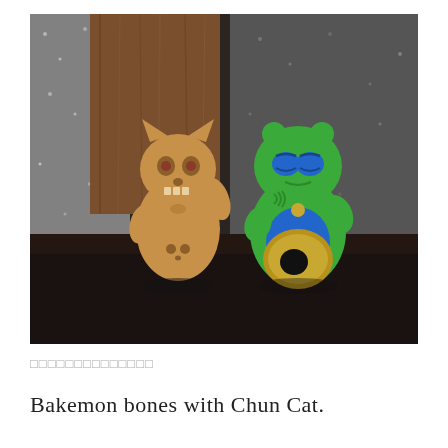[Figure (photo): Two toy figurines on a dark wooden surface against a textured background. Left: a tan/beige skull-faced lucky cat (Maneki-neko) style figure holding a skull. Right: a green and blue frog/cat hybrid figurine (Chun Cat) holding a large gold koban coin with a hole in it.]
□□□□□□□□□□□□□□
Bakemon bones with Chun Cat.